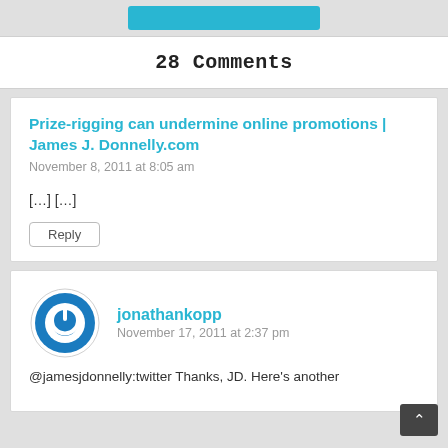28 Comments
Prize-rigging can undermine online promotions | James J. Donnelly.com
November 8, 2011 at 8:05 am
[…] […]
Reply
jonathankopp
November 17, 2011 at 2:37 pm
@jamesjdonnelly:twitter Thanks, JD. Here's another